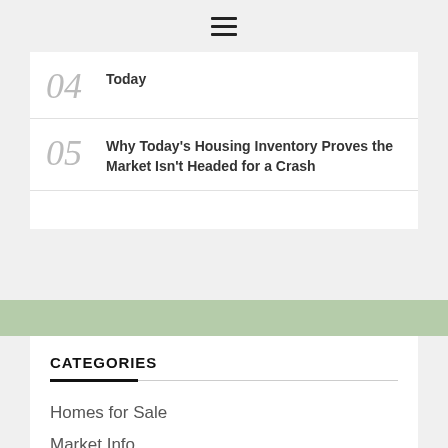☰
04 Today
05 Why Today's Housing Inventory Proves the Market Isn't Headed for a Crash
CATEGORIES
Homes for Sale
Market Info
Mid Century Modern
Purchased
Real Estate